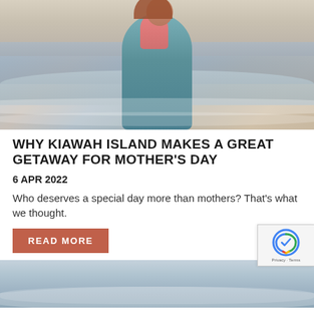[Figure (photo): A smiling woman with auburn hair carrying a young child in a pink outfit on her shoulders, standing on a beach with ocean waves in the background, warm golden hour lighting]
WHY KIAWAH ISLAND MAKES A GREAT GETAWAY FOR MOTHER'S DAY
6 APR 2022
Who deserves a special day more than mothers? That's what we thought.
READ MORE
[Figure (photo): Partial view of a beach scene with waves and sandy shore, cool blue-grey tones, bottom portion of page]